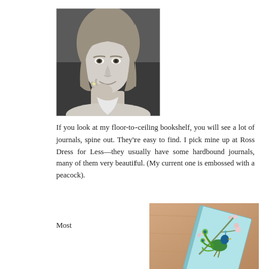[Figure (photo): Black and white portrait photo of a middle-aged woman with shoulder-length blonde hair and bangs, smiling, resting her chin on her hand]
If you look at my floor-to-ceiling bookshelf, you will see a lot of journals, spine out. They're easy to find. I pick mine up at Ross Dress for Less—they usually have some hardbound journals, many of them very beautiful. (My current one is embossed with a peacock).
Most
[Figure (photo): Color photo of a hardbound journal with a peacock design on a light blue background with floral pattern, placed on a wooden surface]